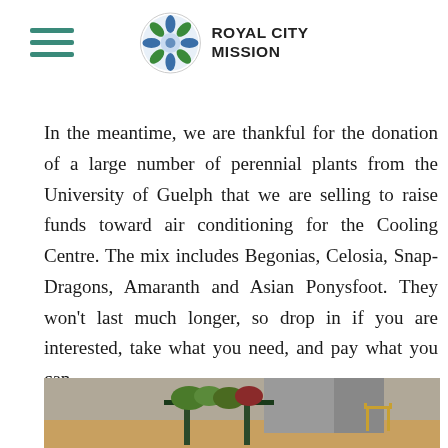Royal City Mission
In the meantime, we are thankful for the donation of a large number of perennial plants from the University of Guelph that we are selling to raise funds toward air conditioning for the Cooling Centre. The mix includes Begonias, Celosia, Snap-Dragons, Amaranth and Asian Ponysfoot. They won't last much longer, so drop in if you are interested, take what you need, and pay what you can.
[Figure (photo): Photo of potted plants on a wheeled rack inside a building, with a chair visible in the background.]